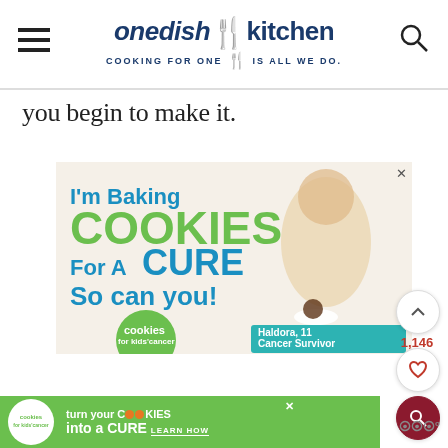one dish kitchen — COOKING FOR ONE | IS ALL WE DO.
you begin to make it.
[Figure (photo): Advertisement for Cookies for Kids' Cancer: 'I'm Baking COOKIES For A CURE So can you!' featuring a young girl named Haldora, 11, Cancer Survivor, holding a plate of cookies. Green circular logo for 'cookies for kids cancer'.]
[Figure (photo): Bottom banner ad for Cookies for Kids' Cancer: 'turn your COOKIES into a CURE LEARN HOW' on a green background with the cookies for kids cancer logo.]